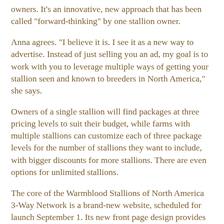owners. It's an innovative, new approach that has been called "forward-thinking" by one stallion owner.
Anna agrees. "I believe it is. I see it as a new way to advertise. Instead of just selling you an ad, my goal is to work with you to leverage multiple ways of getting your stallion seen and known to breeders in North America," she says.
Owners of a single stallion will find packages at three pricing levels to suit their budget, while farms with multiple stallions can customize each of three package levels for the number of stallions they want to include, with bigger discounts for more stallions. There are even options for unlimited stallions.
The core of the Warmblood Stallions of North America 3-Way Network is a brand-new website, scheduled for launch September 1. Its new front page design provides areas for advertiser news and announcements, and entices visitors further into the site with appealing content. If you're stallion shopping, you'll find plenty of eye candy to tempt you. Enhanced Stallion Profiles provide thorough information